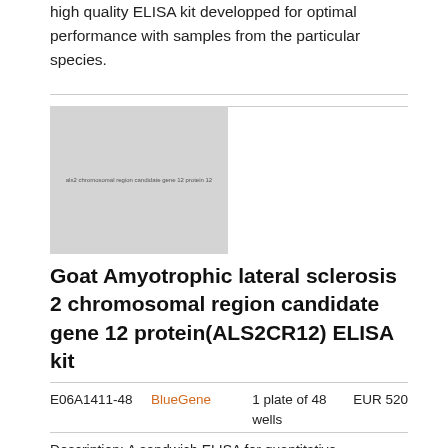high quality ELISA kit developped for optimal performance with samples from the particular species.
[Figure (photo): Product image placeholder showing ELISA kit with small text overlay]
Goat Amyotrophic lateral sclerosis 2 chromosomal region candidate gene 12 protein(ALS2CR12) ELISA kit
|  |  |  |  |
| --- | --- | --- | --- |
| E06A1411-48 | BlueGene | 1 plate of 48 wells | EUR 520 |
Description: A sandwich ELISA for quantitative measurement of Goat Amyotrophic lateral sclerosis 2 chromosomal region candidate gene 12